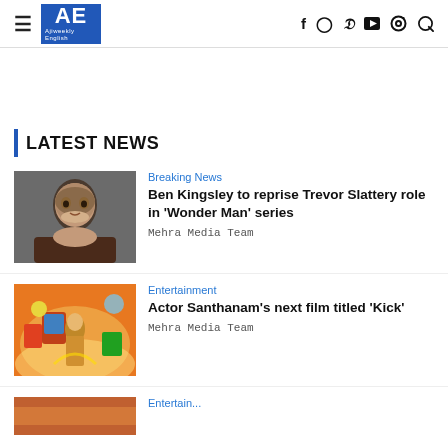AE Ajiweekly English — navigation header with hamburger menu, logo, social icons (f, Instagram, Twitter, YouTube, Search)
LATEST NEWS
[Figure (photo): Portrait photo of Ben Kingsley (bald man with goatee, dark clothing) on grey background]
Breaking News
Ben Kingsley to reprise Trevor Slattery role in 'Wonder Man' series
Mehra Media Team
[Figure (photo): Movie poster illustration of actor Santhanam in colorful action pose with school/comedy items floating around him]
Entertainment
Actor Santhanam's next film titled 'Kick'
Mehra Media Team